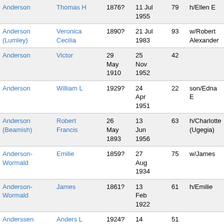| Surname | Given Name | Birth | Death | Age | Relationship |
| --- | --- | --- | --- | --- | --- |
| Anderson | Thomas H | 1876? | 11 Jul 1955 | 79 | h/Ellen E |
| Anderson (Lumley) | Veronica Cecilia | 1890? | 21 Jul 1983 | 93 | w/Robert Alexander |
| Anderson | Victor | 29 May 1910 | 25 Nov 1952 | 42 |  |
| Anderson | William L | 1929? | 24 Apr 1951 | 22 | son/Edna E |
| Anderson (Beamish) | Robert Francis | 26 May 1893 | 13 Jun 1956 | 63 | h/Charlotte (Ugegia) |
| Anderson-Wormald | Emilie | 1859? | 27 Aug 1934 | 75 | w/James |
| Anderson-Wormald | James | 1861? | 13 Feb 1922 | 61 | h/Emilie |
| Anderssen | Anders L | 1924? | 14 Mar 1927 | 51 |  |
| Andersson | Diana | 1937? | 6 Oct | 6 |  |